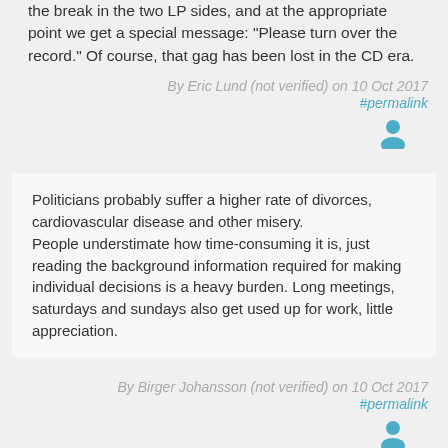the break in the two LP sides, and at the appropriate point we get a special message: "Please turn over the record." Of course, that gag has been lost in the CD era.
By Eric Lund (not verified) on 10 Oct 2017
#permalink
Politicians probably suffer a higher rate of divorces, cardiovascular disease and other misery.
People understimate how time-consuming it is, just reading the background information required for making individual decisions is a heavy burden. Long meetings, saturdays and sundays also get used up for work, little appreciation.
By Birger Johansson (not verified) on 10 Oct 2017
#permalink